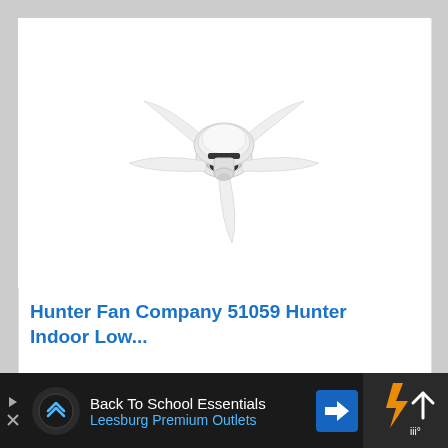[Figure (photo): White ceiling fan with 5 blades, low profile mount, Hunter brand style, photographed on white background]
Hunter Fan Company 51059 Hunter Indoor Low...
[Figure (screenshot): Advertisement bar at bottom: Back To School Essentials - Leesburg Premium Outlets, with logo circle, blue navigation arrow icon, and right side navigation icons]